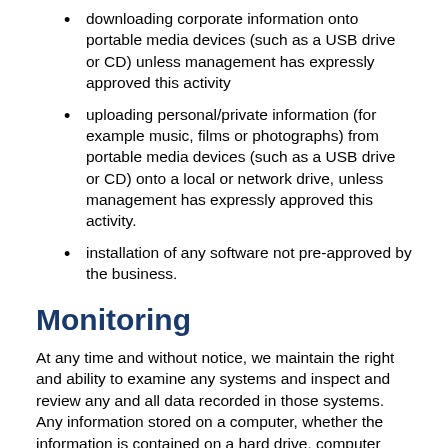downloading corporate information onto portable media devices (such as a USB drive or CD) unless management has expressly approved this activity
uploading personal/private information (for example music, films or photographs) from portable media devices (such as a USB drive or CD) onto a local or network drive, unless management has expressly approved this activity.
installation of any software not pre-approved by the business.
Monitoring
At any time and without notice, we maintain the right and ability to examine any systems and inspect and review any and all data recorded in those systems. Any information stored on a computer, whether the information is contained on a hard drive, computer disk or in any other manner and subject to exceptional circumstances